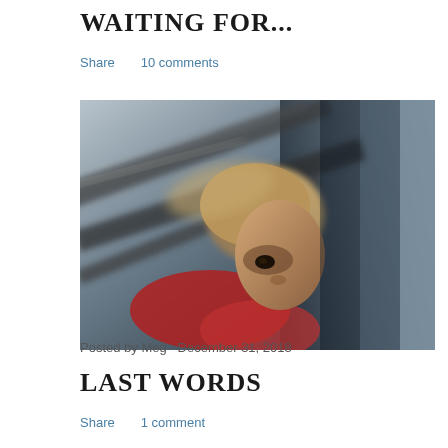WAITING FOR...
Share    10 comments
[Figure (photo): A young boy leaning out of a train window with motion blur, looking downward with a serious expression. The image has dramatic lighting with dark tones and a blurred background.]
Posted by Meg · December 31, 2018
LAST WORDS
Share    1 comment